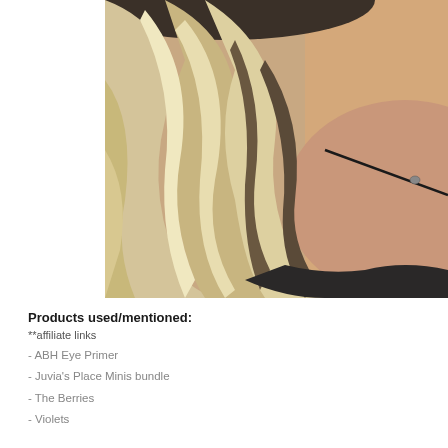[Figure (photo): Close-up photo of a woman with long wavy blonde ombre hair, wearing a black choker necklace with a small bead. The background is a warm brown/tan color. Only the hair, neck, and upper chest area are visible.]
Products used/mentioned:
**affiliate links
- ABH Eye Primer
- Juvia's Place Minis bundle
- The Berries
- Violets